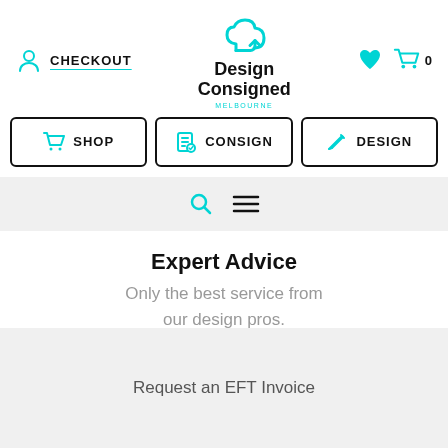CHECKOUT | Design Consigned MELBOURNE
[Figure (screenshot): Navigation bar with SHOP, CONSIGN, DESIGN buttons with teal icons]
[Figure (screenshot): Search bar with teal magnifying glass icon and hamburger menu icon]
Expert Advice
Only the best service from our design pros.
Request an EFT Invoice